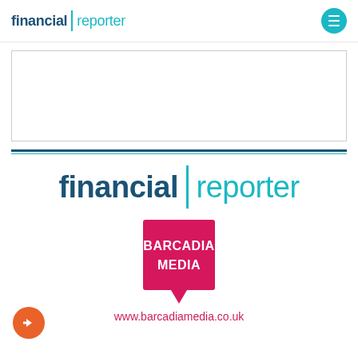financial reporter
[Figure (other): Empty advertisement placeholder box with light border]
[Figure (logo): Financial Reporter logo — large version with teal vertical divider between 'financial' and 'reporter']
[Figure (logo): Barcadia Media logo — pink/magenta square with white text 'BARCADIA MEDIA' and speech bubble tail pointing down]
www.barcadiamedia.co.uk